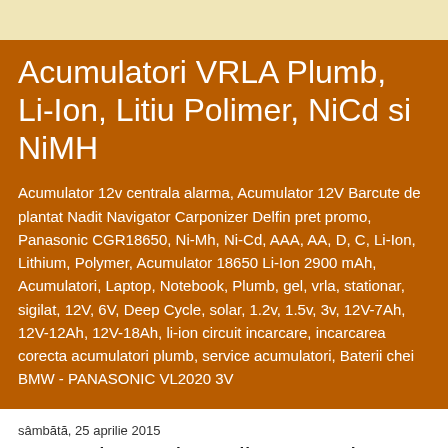Acumulatori VRLA Plumb, Li-Ion, Litiu Polimer, NiCd si NiMH
Acumulator 12v centrala alarma, Acumulator 12V Barcute de plantat Nadit Navigator Carponizer Delfin pret promo, Panasonic CGR18650, Ni-Mh, Ni-Cd, AAA, AA, D, C, Li-Ion, Lithium, Polymer, Acumulator 18650 Li-Ion 2900 mAh, Acumulatori, Laptop, Notebook, Plumb, gel, vrla, stationar, sigilat, 12V, 6V, Deep Cycle, solar, 1.2v, 1.5v, 3v, 12V-7Ah, 12V-12Ah, 12V-18Ah, li-ion circuit incarcare, incarcarea corecta acumulatori plumb, service acumulatori, Baterii chei BMW - PANASONIC VL2020 3V
sâmbătă, 25 aprilie 2015
Acumulator Ultracell 6V 4.5Ah - Acumulatori stationari cu gel